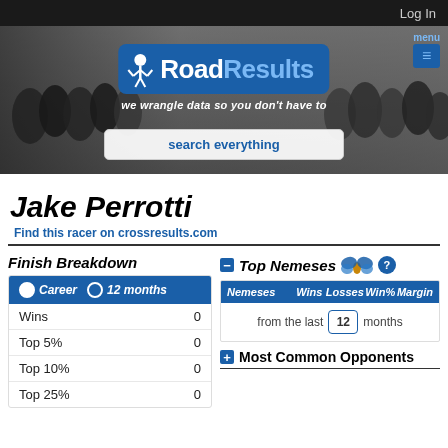Log In
[Figure (screenshot): RoadResults website banner with cycling photo background, logo, tagline 'we wrangle data so you don't have to', search bar, and menu button]
Jake Perrotti
Find this racer on crossresults.com
Finish Breakdown
|  |  |
| --- | --- |
| Wins | 0 |
| Top 5% | 0 |
| Top 10% | 0 |
| Top 25% | 0 |
Top Nemeses
| Nemeses | Wins | Losses | Win% | Margin |
| --- | --- | --- | --- | --- |
| from the last | 12 | months |  |  |
Most Common Opponents